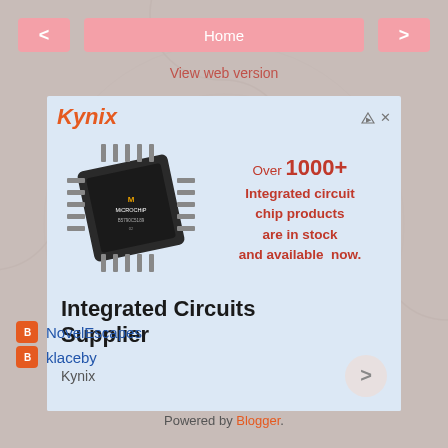< Home >
View web version
[Figure (screenshot): Kynix advertisement banner showing a microchip (Microchip Technology) with text 'Over 1000+ Integrated circuit chip products are in stock and available now.' and bottom section reading 'Integrated Circuits Supplier' with brand name 'Kynix']
NovelEscapes
klaceby
Powered by Blogger.